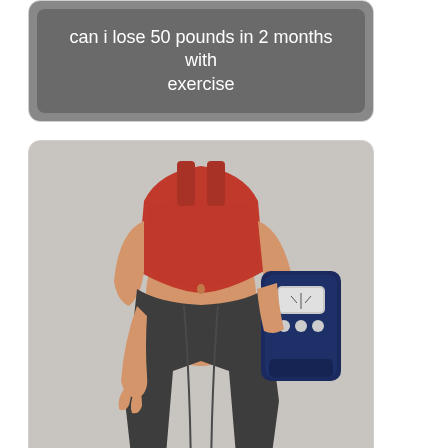[Figure (photo): Card with gray background and caption overlay reading 'can i lose 50 pounds in 2 months with exercise']
can i lose 50 pounds in 2 months with exercise
[Figure (photo): Card with photo of a woman in red crop top and dark pants holding a bathroom scale, with caption overlay 'can you lose 70 lbs in 2 months']
can you lose 70 lbs in 2 months
[Figure (photo): Card with white/light background, bottom portion visible with a gray caption bar partially showing]